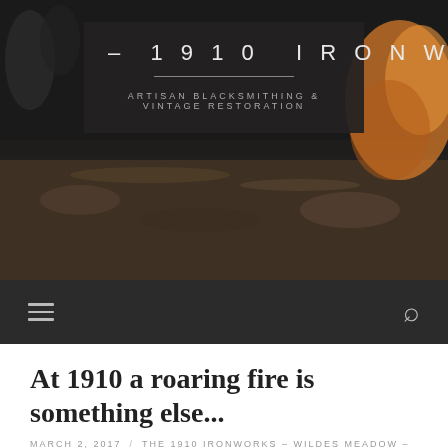[Figure (photo): Header photo showing a dark background with blurred workshop/store items including what appears to be rocks or forged metal objects with warm orange tones on the right side. A dark semi-transparent logo overlay box is centered in the upper portion showing '– 1910 IRONWORKS –' and 'ARTISAN BLACKSMITHING & VINTAGE RESTORATION'.]
– 1910 IRONWORKS –
ARTISAN BLACKSMITHING & VINTAGE RESTORATION
At 1910 a roaring fire is something else...
MARCH 2, 2017 / THE 1910 IRONWORKS – WILDES MEADOW – NSW